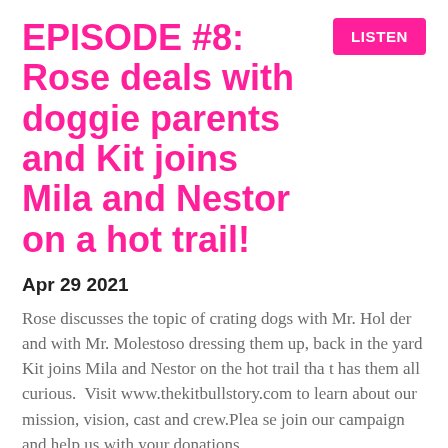EPISODE #8: Rose deals with doggie parents and Kit joins Mila and Nestor on a hot trail!
LISTEN
Apr 29 2021
Rose discusses the topic of crating dogs with Mr. Holder and with Mr. Molestoso dressing them up, back in the yard Kit joins Mila and Nestor on the hot trail that has them all curious.  Visit www.thekitbullstory.com to learn about our mission, vision, cast and crew.Please join our campaign and help us with your donations here:https://fundraising.fracturedatlas.org/the-kitbull-story/general_supportYour donations help to kee